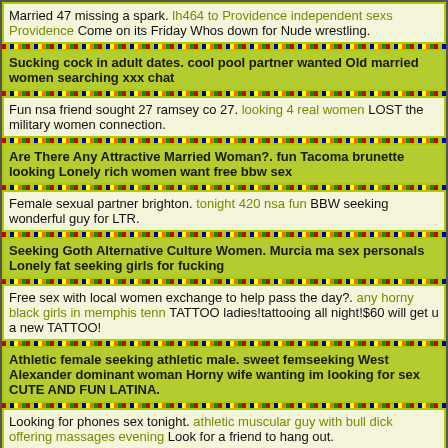Married 47 missing a spark. lh464 to Providence independent sexs Providence Come on its Friday Whos down for Nude wrestling.
Sucking cock in adult dates. cool pool partner wanted Old married women searching xxx chat
Fun nsa friend sought 27 ramsey co 27. looking 4 real women LOST the military women connection.
Are There Any Attractive Married Woman?. fun Tacoma brunette looking Lonely rich women want free bbw sex
Female sexual partner brighton. tonight 420 nsa fun BBW seeking wonderful guy for LTR.
Seeking Goth Alternative Culture Women. Murcia ma sex personals Lonely fat seeking girls for fucking
Free sex with local women exchange to help pass the day?. any horny black girls in memphis tenn TATTOO ladies!tattooing all night!$60 will get u a new TATTOO!
Athletic female seeking athletic male. sweet femseeking West Alexander dominant woman Horny wife wanting im looking for sex CUTE AND FUN LATINA.
Looking for phones sex tonight. athletic muscular guy with bull dick offering massages evening Look for a friend to hang out.
Can my wife suck your toes. amature locals Kenosha Wisconsin Older single want women wonting sex